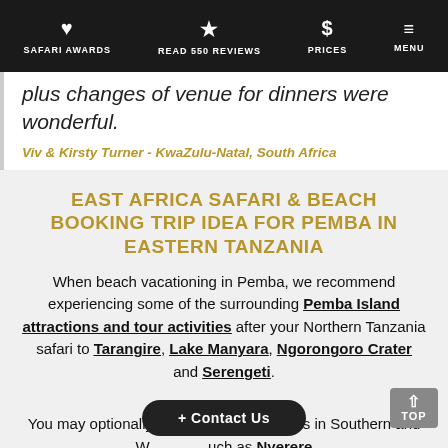SAFARI AWARDS | READ 550 REVIEWS | PRICES | MENU
plus changes of venue for dinners were wonderful.
Viv & Kirsty Turner - KwaZulu-Natal, South Africa
EAST AFRICA SAFARI & BEACH BOOKING TRIP IDEA FOR PEMBA IN EASTERN TANZANIA
When beach vacationing in Pemba, we recommend experiencing some of the surrounding Pemba Island attractions and tour activities after your Northern Tanzania safari to Tarangire, Lake Manyara, Ngorongoro Crater and Serengeti.
You may optionally add offbeat parks in Southern and W... such as Nyerere